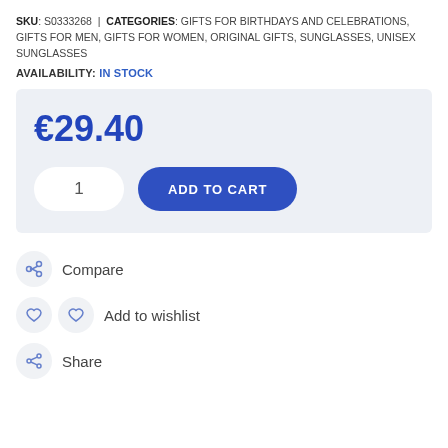SKU: S0333268 | CATEGORIES: GIFTS FOR BIRTHDAYS AND CELEBRATIONS, GIFTS FOR MEN, GIFTS FOR WOMEN, ORIGINAL GIFTS, SUNGLASSES, UNISEX SUNGLASSES
AVAILABILITY: IN STOCK
€29.40
1
ADD TO CART
Compare
Add to wishlist
Share